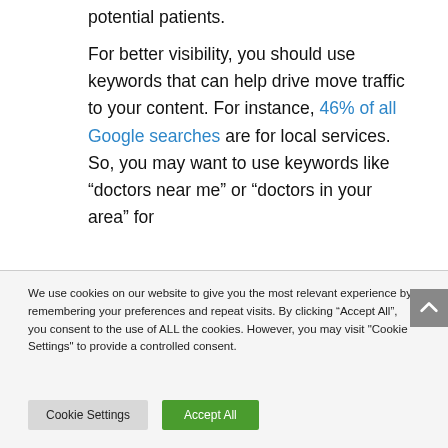potential patients.

For better visibility, you should use keywords that can help drive move traffic to your content. For instance, 46% of all Google searches are for local services. So, you may want to use keywords like “doctors near me” or “doctors in your area” for
We use cookies on our website to give you the most relevant experience by remembering your preferences and repeat visits. By clicking “Accept All”, you consent to the use of ALL the cookies. However, you may visit "Cookie Settings" to provide a controlled consent.